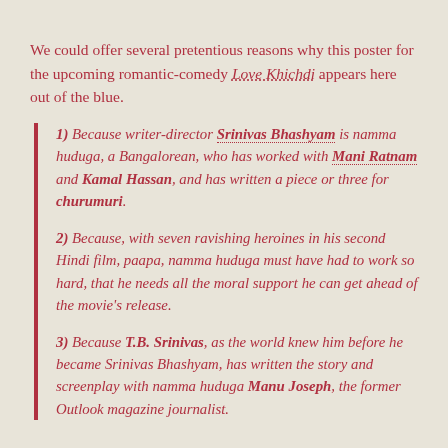We could offer several pretentious reasons why this poster for the upcoming romantic-comedy Love Khichdi appears here out of the blue.
1) Because writer-director Srinivas Bhashyam is namma huduga, a Bangalorean, who has worked with Mani Ratnam and Kamal Hassan, and has written a piece or three for churumuri.
2) Because, with seven ravishing heroines in his second Hindi film, paapa, namma huduga must have had to work so hard, that he needs all the moral support he can get ahead of the movie's release.
3) Because T.B. Srinivas, as the world knew him before he became Srinivas Bhashyam, has written the story and screenplay with namma huduga Manu Joseph, the former Outlook magazine journalist.